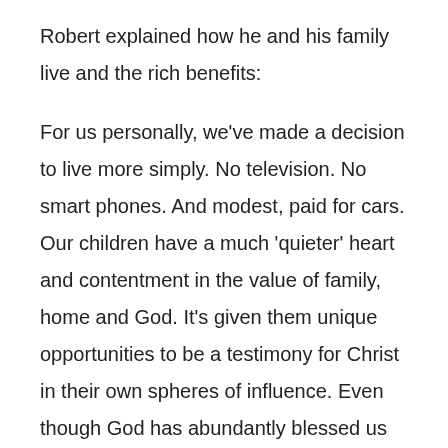Robert explained how he and his family live and the rich benefits:
For us personally, we've made a decision to live more simply. No television. No smart phones. And modest, paid for cars. Our children have a much 'quieter' heart and contentment in the value of family, home and God. It's given them unique opportunities to be a testimony for Christ in their own spheres of influence. Even though God has abundantly blessed us in equity, such as land and cattle and sheep, we built a house we could afford to pay for. It is only